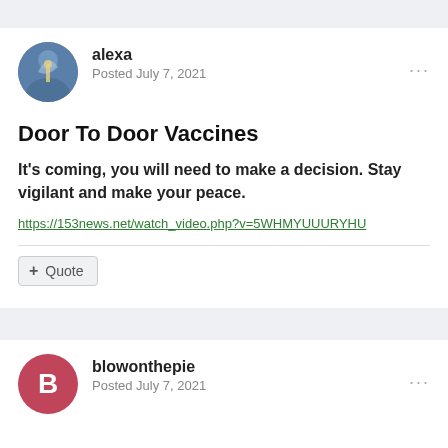alexa
Posted July 7, 2021
Door To Door Vaccines
It's coming, you will need to make a decision. Stay vigilant and make your peace.
https://153news.net/watch_video.php?v=5WHMYUUURYHU
+ Quote
blowonthepie
Posted July 7, 2021